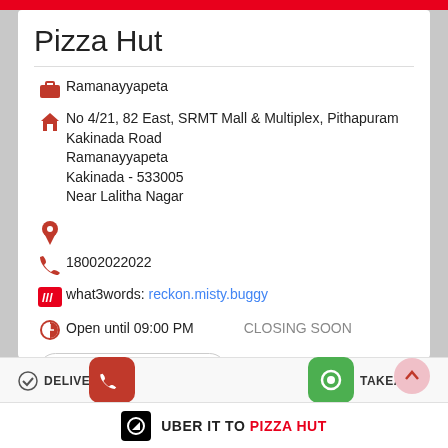Pizza Hut
Ramanayyapeta
No 4/21, 82 East, SRMT Mall & Multiplex, Pithapuram Kakinada Road
Ramanayyapeta
Kakinada - 533005
Near Lalitha Nagar
18002022022
what3words: reckon.misty.buggy
Open until 09:00 PM    CLOSING SOON
fssai 10119029000209
DELIVERY
TAKEAWAY
UBER IT TO PIZZA HUT